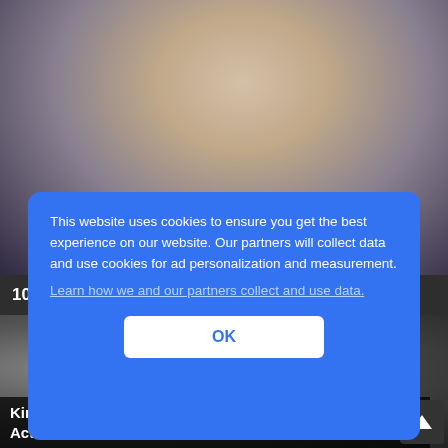[Figure (photo): Close-up portrait photo of an Asian woman with dark hair and bare shoulders wearing a dark top, against a neutral background.]
10 Stunning Asian Actresses No Man Can Resist
[Figure (photo): Partial photo of a person at what appears to be an event, with a green/yellow sign visible in the background.]
This website uses cookies to ensure you get the best experience on our website. Our partners will collect data and use cookies for ad personalization and measurement.
Learn how we and our partners collect and use data.
OK
Kim & Pete: Their On Air Kiss Was Nothing More Than Acti...